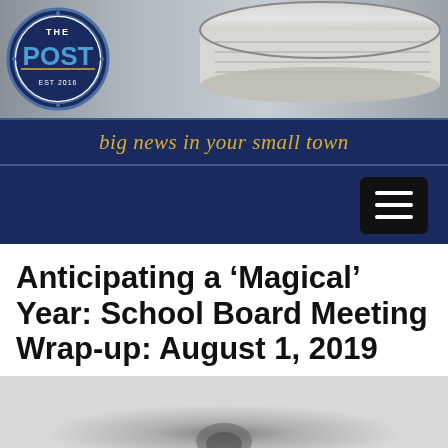[Figure (illustration): The Post newspaper website header banner with logo badge showing 'THE POST EST 2016' on left and rolled newspaper photograph on right, dark navy blue background]
big news in your small town
[Figure (screenshot): Dark navy blue navigation bar with black hamburger menu button (three white horizontal lines) on the right side]
Anticipating a ‘Magical’ Year: School Board Meeting Wrap-up: August 1, 2019
[Figure (photo): Partially visible photo at bottom of page, light grey/white background with blurred dark object in center]